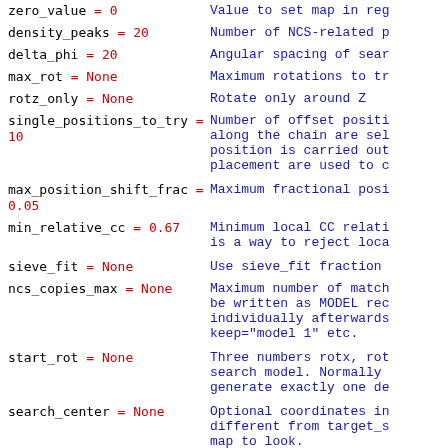zero_value = 0   Value to set map in region
density_peaks = 20   Number of NCS-related p
delta_phi = 20   Angular spacing of sear
max_rot = None   Maximum rotations to tr
rotz_only = None   Rotate only around Z
single_positions_to_try = 10   Number of offset positions along the chain are selected, position is carried out, placement are used to c
max_position_shift_frac = 0.05   Maximum fractional posi
min_relative_cc = 0.67   Minimum local CC relati is a way to reject loca
sieve_fit = None   Use sieve_fit fraction
ncs_copies_max = None   Maximum number of match be written as MODEL rec individually afterwards keep="model 1" etc.
start_rot = None   Three numbers rotx, rot search model. Normally generate exactly one de
search_center = None   Optional coordinates in different from target_s map to look.
search_center_selection = None   Optional selection defi search.
target_search_center = None   Optional coordinates